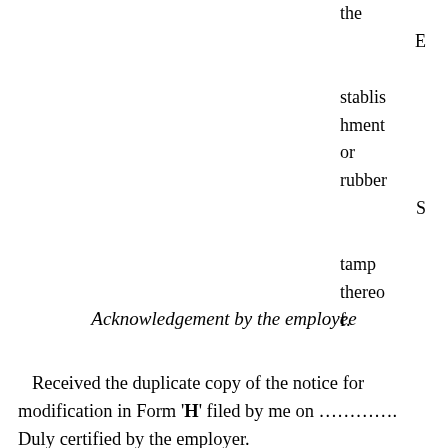the Establishment or rubber Stamp thereof.
Acknowledgement by the employee
Received the duplicate copy of the notice for modification in Form 'H' filed by me on ............ Duly certified by the employer.